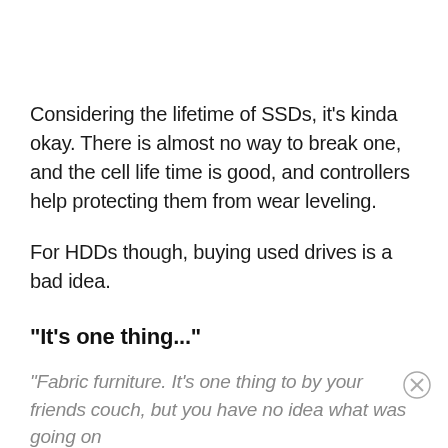Considering the lifetime of SSDs, it's kinda okay. There is almost no way to break one, and the cell life time is good, and controllers help protecting them from wear leveling.
For HDDs though, buying used drives is a bad idea.
"It's one thing..."
"Fabric furniture. It's one thing to by your friends couch, but you have no idea what was going on